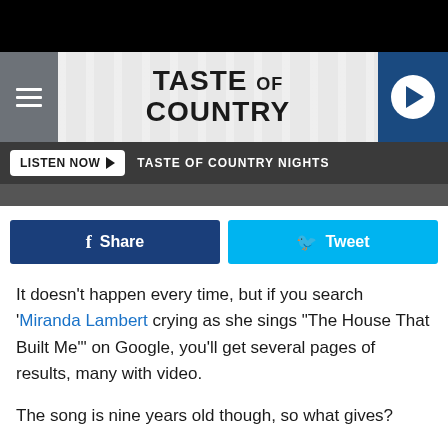Taste of Country — LISTEN NOW ▶  TASTE OF COUNTRY NIGHTS
It doesn't happen every time, but if you search 'Miranda Lambert crying as she sings "The House That Built Me"' on Google, you'll get several pages of results, many with video.
The song is nine years old though, so what gives?
The answer is complicated and has to do with how close the Allen Shamblin and Tom Douglas-written ballad comes to mirroring her own raising. It's almost like they were spying